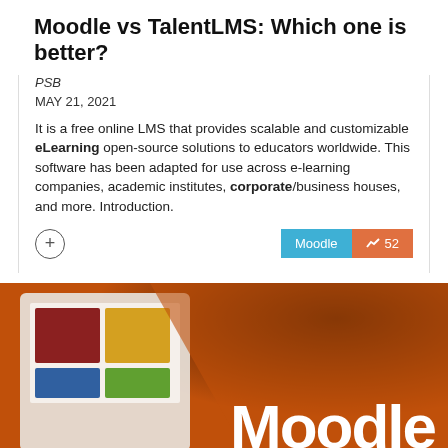Moodle vs TalentLMS: Which one is better?
PSB
MAY 21, 2021
It is a free online LMS that provides scalable and customizable eLearning open-source solutions to educators worldwide. This software has been adapted for use across e-learning companies, academic institutes, corporate/business houses, and more. Introduction.
[Figure (photo): Photograph showing a laptop or tablet screen displaying an art-related website or app, overlaid with an orange background and white bold text reading 'Moodle a']